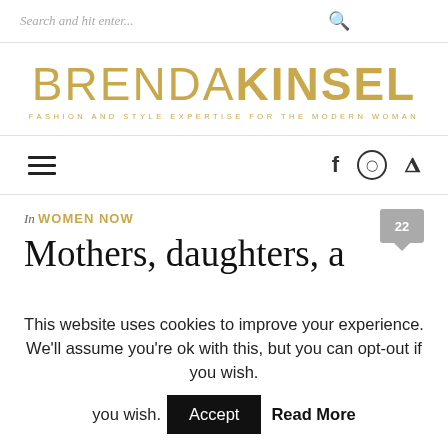Search and hit enter...
BRENDA KINSEL — FASHION AND STYLE EXPERTISE FOR THE MODERN WOMAN
navigation: hamburger menu, facebook, instagram, pinterest
In WOMEN NOW
Mothers, daughters, a
This website uses cookies to improve your experience. We'll assume you're ok with this, but you can opt-out if you wish. Accept  Read More